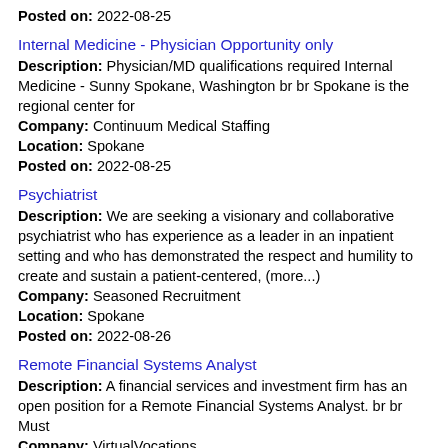Posted on: 2022-08-25
Internal Medicine - Physician Opportunity only
Description: Physician/MD qualifications required Internal Medicine - Sunny Spokane, Washington br br Spokane is the regional center for
Company: Continuum Medical Staffing
Location: Spokane
Posted on: 2022-08-25
Psychiatrist
Description: We are seeking a visionary and collaborative psychiatrist who has experience as a leader in an inpatient setting and who has demonstrated the respect and humility to create and sustain a patient-centered, (more...)
Company: Seasoned Recruitment
Location: Spokane
Posted on: 2022-08-26
Remote Financial Systems Analyst
Description: A financial services and investment firm has an open position for a Remote Financial Systems Analyst. br br Must
Company: VirtualVocations
Location: Spokane
Posted on: 2022-08-26
Bookkeeper